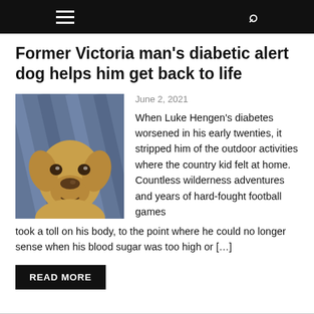≡  🔍
Former Victoria man's diabetic alert dog helps him get back to life
[Figure (photo): A golden/yellow Labrador dog looking up at the camera, seated on a blue surface, with a red tag on its collar.]
June 2, 2021
When Luke Hengen's diabetes worsened in his early twenties, it stripped him of the outdoor activities where the country kid felt at home. Countless wilderness adventures and years of hard-fought football games took a toll on his body, to the point where he could no longer sense when his blood sugar was too high or […]
READ MORE